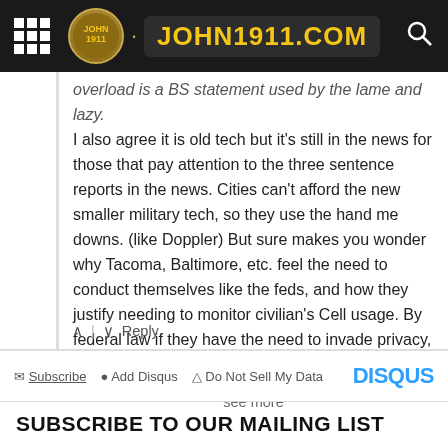JOHN1911.COM
overload is a BS statement used by the lame and lazy. I also agree it is old tech but it's still in the news for those that pay attention to the three sentence reports in the news. Cities can't afford the new smaller military tech, so they use the hand me downs. (like Doppler) But sure makes you wonder why Tacoma, Baltimore, etc. feel the need to conduct themselves like the feds, and how they justify needing to monitor civilian's Cell usage. By federal law if they have the need to invade privacy, shouldn't you
see more
Reply
Subscribe | Add Disqus | Do Not Sell My Data | DISQUS
SUBSCRIBE TO OUR MAILING LIST